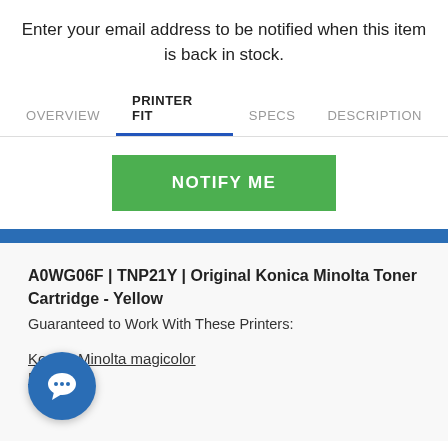Enter your email address to be notified when this item is back in stock.
OVERVIEW   PRINTER FIT   SPECS   DESCRIPTION
NOTIFY ME
A0WG06F | TNP21Y | Original Konica Minolta Toner Cartridge - Yellow
Guaranteed to Work With These Printers:
Konica Minolta magicolor DN